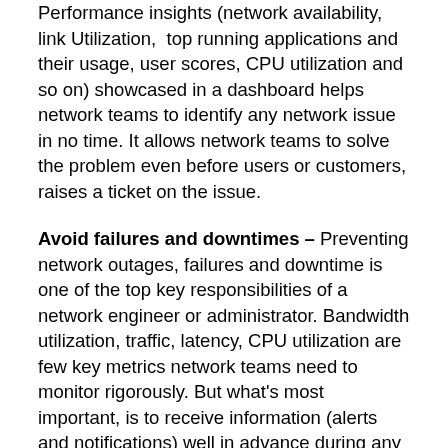Performance insights (network availability, link Utilization,  top running applications and their usage, user scores, CPU utilization and so on) showcased in a dashboard helps network teams to identify any network issue in no time. It allows network teams to solve the problem even before users or customers, raises a ticket on the issue.
Avoid failures and downtimes – Preventing network outages, failures and downtime is one of the top key responsibilities of a network engineer or administrator. Bandwidth utilization, traffic, latency, CPU utilization are few key metrics network teams need to monitor rigorously. But what's most important, is to receive information (alerts and notifications) well in advance during any network issues like failures and slowness is a common challenge in most networking teams. It's here where legacy monitoring solutions fail. In order to identify and address the root cause, troubleshoot, and recommended necessary upgrades, networking teams requires real time alerts and notifications which will allow them act, analyse and solve the problem.